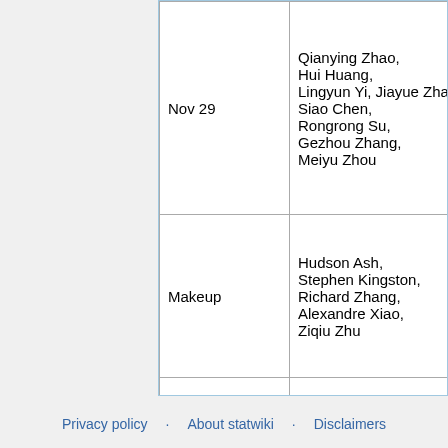| Nov 29 | Qianying Zhao, Hui Huang, Lingyun Yi, Jiayue Zhang, Siao Chen, Rongrong Su, Gezhou Zhang, Meiyu Zhou | 12 |  |
| Makeup | Hudson Ash, Stephen Kingston, Richard Zhang, Alexandre Xiao, Ziqiu Zhu |  |  |
| Makeup |  |  |  |
| Makeup |  |  |  |
| Makeup |  |  |  |
Privacy policy · About statwiki · Disclaimers